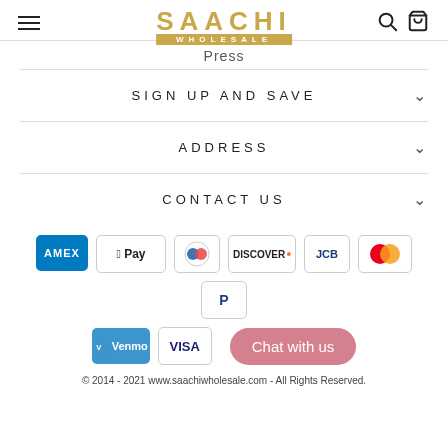SAACHI WHOLESALE
Press
SIGN UP AND SAVE
ADDRESS
CONTACT US
[Figure (other): Payment method icons: American Express, Apple Pay, Diners Club, Discover, JCB, Mastercard, PayPal, Venmo, Visa]
© 2014 - 2021 www.saachiwholesale.com - All Rights Reserved.